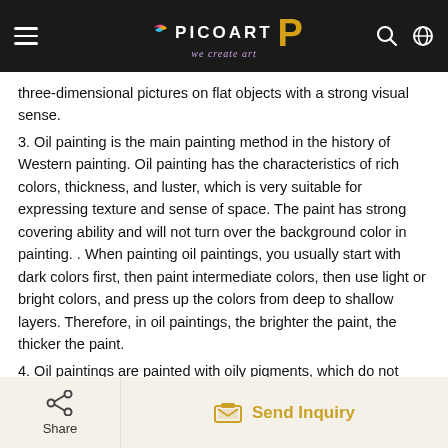PICOART — we create art
three-dimensional pictures on flat objects with a strong visual sense.
3. Oil painting is the main painting method in the history of Western painting. Oil painting has the characteristics of rich colors, thickness, and luster, which is very suitable for expressing texture and sense of space. The paint has strong covering ability and will not turn over the background color in painting. . When painting oil paintings, you usually start with dark colors first, then paint intermediate colors, then use light or bright colors, and press up the colors from deep to shallow layers. Therefore, in oil paintings, the brighter the paint, the thicker the paint.
4. Oil paintings are painted with oily pigments, which do not change much between dry and wet. The colors of oil paints are bright and bright, and the styles that can be expressed are various. The pigments are rich in color, strong in adhesion, and can maintain gloss for a long time
Share | Send Inquiry